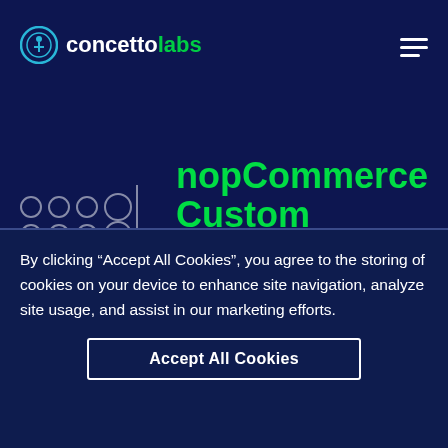[Figure (logo): Concetto Labs logo with circular icon on left and text 'concettolabs' where 'labs' is in green]
[Figure (illustration): 3x4 grid of outlined circles next to a vertical line divider]
nopCommerce Custom Development services
Hire nopCommerce developer and
By clicking “Accept All Cookies”, you agree to the storing of cookies on your device to enhance site navigation, analyze site usage, and assist in our marketing efforts.